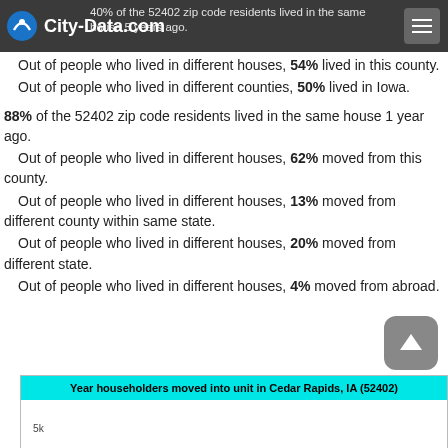City-Data.com
40% of the 52402 zip code residents lived in the same house 5 years ago.
Out of people who lived in different houses, 54% lived in this county.
Out of people who lived in different counties, 50% lived in Iowa.
88% of the 52402 zip code residents lived in the same house 1 year ago.
Out of people who lived in different houses, 62% moved from this county.
Out of people who lived in different houses, 13% moved from different county within same state.
Out of people who lived in different houses, 20% moved from different state.
Out of people who lived in different houses, 4% moved from abroad.
[Figure (bar-chart): Bar chart showing year householders moved into unit in Cedar Rapids, IA (52402)]